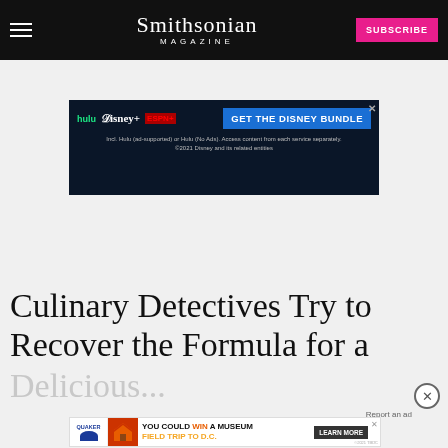Smithsonian MAGAZINE | SUBSCRIBE
[Figure (other): Disney Bundle advertisement showing Hulu, Disney+, ESPN+ logos with 'GET THE DISNEY BUNDLE' call to action button. Includes small print about ad-supported Hulu.]
ARTS & CULTURE
Culinary Detectives Try to Recover the Formula for a Delicious...
[Figure (other): Quaker Museum Day advertisement - 'YOU COULD WIN A MUSEUM FIELD TRIP TO D.C.' with LEARN MORE button]